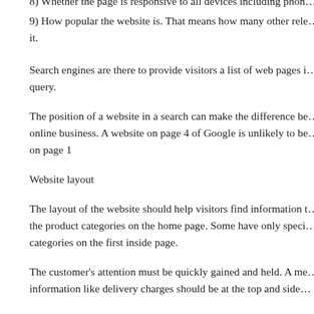8) Whether the page is responsive to all devices including phones
9) How popular the website is. That means how many other relevant websites link to it.
Search engines are there to provide visitors a list of web pages in response to a query.
The position of a website in a search can make the difference between a successful online business. A website on page 4 of Google is unlikely to be visited as often as one on page 1
Website layout
The layout of the website should help visitors find information that they need. Some put the product categories on the home page. Some have only specialist information and put the categories on the first inside page.
The customer's attention must be quickly gained and held. A menu with important information like delivery charges should be at the top and sides